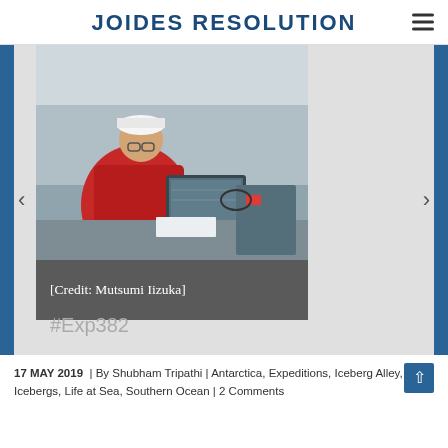JOIDES RESOLUTION
[Figure (photo): A person in a red jacket and white cap sitting at a desk working on a laptop in what appears to be a ship laboratory or work area.]
[Credit: Mutsumi Iizuka]
#Exp382
17 MAY 2019  | By Shubham Tripathi | Antarctica, Expeditions, Iceberg Alley, Icebergs, Life at Sea, Southern Ocean | 2 Comments